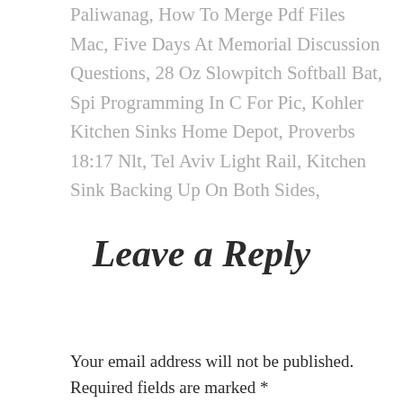Paliwanag, How To Merge Pdf Files Mac, Five Days At Memorial Discussion Questions, 28 Oz Slowpitch Softball Bat, Spi Programming In C For Pic, Kohler Kitchen Sinks Home Depot, Proverbs 18:17 Nlt, Tel Aviv Light Rail, Kitchen Sink Backing Up On Both Sides,
Leave a Reply
Your email address will not be published. Required fields are marked *